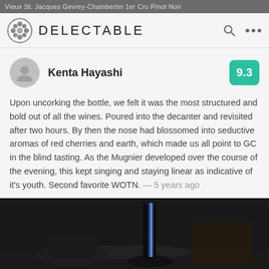Vieux St. Jacques Gevrey-Chambertin 1er Cru Pinot Noir
DELECTABLE
Kenta Hayashi  9.3
Upon uncorking the bottle, we felt it was the most structured and bold out of all the wines. Poured into the decanter and revisited after two hours. By then the nose had blossomed into seductive aromas of red cherries and earth, which made us all point to GC in the blind tasting. As the Mugnier developed over the course of the evening, this kept singing and staying linear as indicative of it's youth. Second favorite WOTN. — 5 years ago
Jonathan liked this
[Figure (photo): Dark photograph showing a wine bottle with a blue highlight/reflection, against a very dark background]